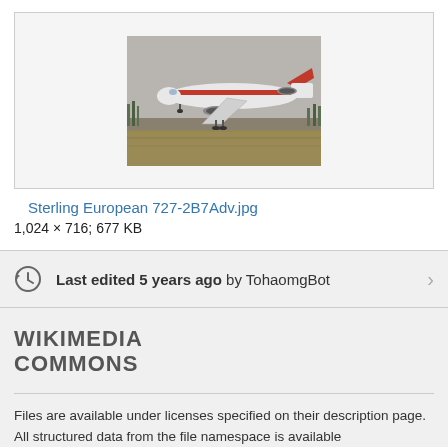[Figure (photo): Photograph of a Sterling European Boeing 727-2B7Adv aircraft on the ground, viewed from the side, on a grassy airfield against a hazy sky.]
Sterling European 727-2B7Adv.jpg
1,024 × 716; 677 KB
Last edited 5 years ago by TohaomgBot
WIKIMEDIA COMMONS
Files are available under licenses specified on their description page. All structured data from the file namespace is available